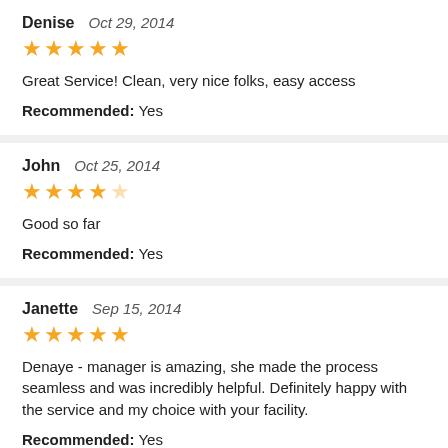Denise   Oct 29, 2014
★★★★★
Great Service! Clean, very nice folks, easy access
Recommended: Yes
John   Oct 25, 2014
★★★★☆
Good so far
Recommended: Yes
Janette   Sep 15, 2014
★★★★★
Denaye - manager is amazing, she made the process seamless and was incredibly helpful. Definitely happy with the service and my choice with your facility.
Recommended: Yes